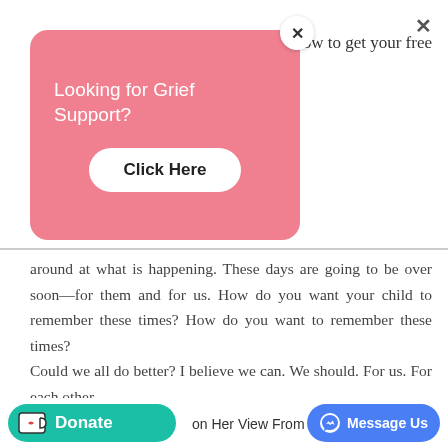[Figure (screenshot): Pink popup card overlaying webpage content. Card reads 'Looking for Grief Support?' with a white 'Click Here' button. A white circular X close button appears at top right of card. A gray X close button appears at top right of the main page.]
now to get your free
around at what is happening. These days are going to be over soon—for them and for us. How do you want your child to remember these times? How do you want to remember these times?
Could we all do better? I believe we can. We should. For us. For each other.
For them.
on Her View From Hom
[Figure (screenshot): Teal 'Donate' button with Ko-fi cup icon on bottom left. Blue 'Message Us' Facebook Messenger button on bottom right.]